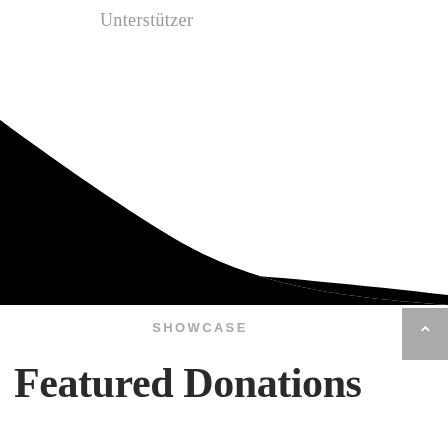Unterstützer
[Figure (illustration): A large black curved shape resembling a swooping wave or abstract graphic element, spanning the full width of the page in the upper-middle area.]
SHOWCASE
Featured Donations